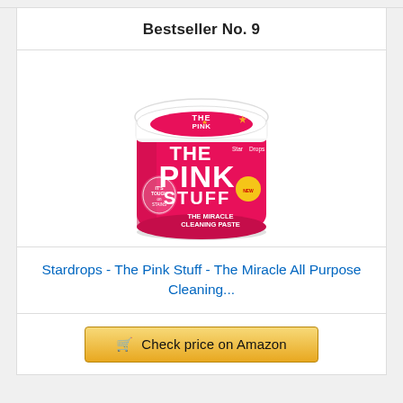Bestseller No. 9
[Figure (photo): Stardrops The Pink Stuff Miracle Cleaning Paste product container — a round tub with white lid and bright pink label reading 'THE PINK STUFF THE MIRACLE CLEANING PASTE' by Star Drops.]
Stardrops - The Pink Stuff - The Miracle All Purpose Cleaning...
Check price on Amazon